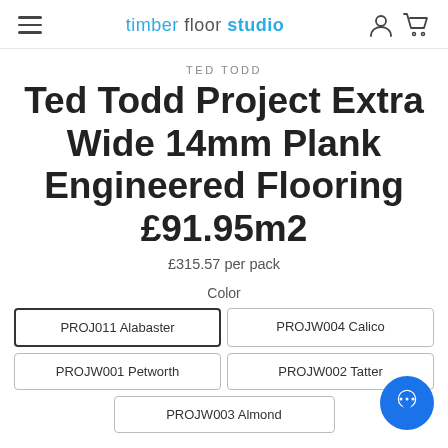timber floor studio
TED TODD
Ted Todd Project Extra Wide 14mm Plank Engineered Flooring £91.95m2
£315.57 per pack
Color
PROJ011 Alabaster
PROJW004 Calico
PROJW001 Petworth
PROJW002 Tatter
PROJW003 Almond